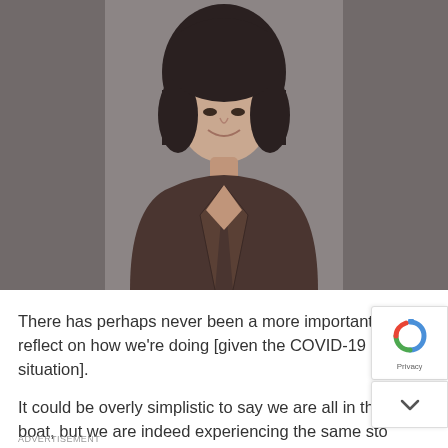[Figure (photo): Professional headshot of a woman with a dark bob haircut, smiling, wearing a dark brown blazer, against a gray background]
There has perhaps never been a more important time to reflect on how we're doing [given the COVID-19 situation].
It could be overly simplistic to say we are all in the same boat, but we are indeed experiencing the same sto...
ADVERTISEMENT